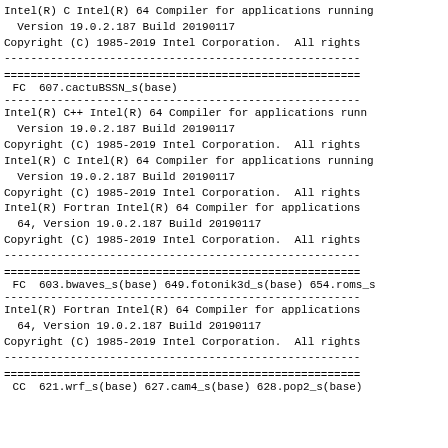Intel(R) C Intel(R) 64 Compiler for applications running
  Version 19.0.2.187 Build 20190117
Copyright (C) 1985-2019 Intel Corporation.  All rights
------------------------------------------------------------
============================================================
FC  607.cactuBSSN_s(base)
------------------------------------------------------------
Intel(R) C++ Intel(R) 64 Compiler for applications runn
  Version 19.0.2.187 Build 20190117
Copyright (C) 1985-2019 Intel Corporation.  All rights 
Intel(R) C Intel(R) 64 Compiler for applications running
  Version 19.0.2.187 Build 20190117
Copyright (C) 1985-2019 Intel Corporation.  All rights 
Intel(R) Fortran Intel(R) 64 Compiler for applications 
  64, Version 19.0.2.187 Build 20190117
Copyright (C) 1985-2019 Intel Corporation.  All rights
------------------------------------------------------------
============================================================
FC  603.bwaves_s(base) 649.fotonik3d_s(base) 654.roms_s
------------------------------------------------------------
Intel(R) Fortran Intel(R) 64 Compiler for applications 
  64, Version 19.0.2.187 Build 20190117
Copyright (C) 1985-2019 Intel Corporation.  All rights
------------------------------------------------------------
============================================================
CC  621.wrf_s(base) 627.cam4_s(base) 628.pop2_s(base)